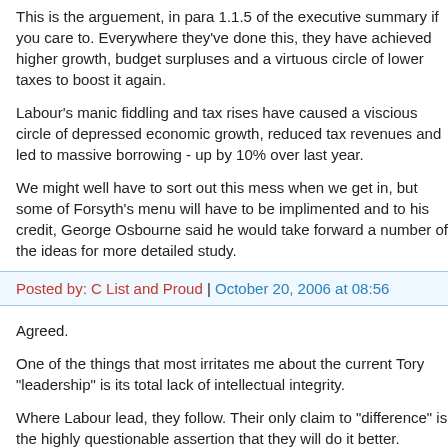This is the arguement, in para 1.1.5 of the executive summary if you care to. Everywhere they've done this, they have achieved higher growth, budget surpluses and a virtuous circle of lower taxes to boost it again.
Labour's manic fiddling and tax rises have caused a viscious circle of depressed economic growth, reduced tax revenues and led to massive borrowing - up by 10% over last year.
We might well have to sort out this mess when we get in, but some of Forsyth's menu will have to be implimented and to his credit, George Osbourne said he would take forward a number of the ideas for more detailed study.
Posted by: C List and Proud | October 20, 2006 at 08:56
Agreed.
One of the things that most irritates me about the current Tory "leadership" is its total lack of intellectual integrity.
Where Labour lead, they follow. Their only claim to "difference" is the highly questionable assertion that they will do it better.
How can one respect such a contemptible philosophy - devoid of principle, and guided by the emptyheaded banter of focus groups?
What Portillo said last night - "they're only saying it to get votes" (or words to